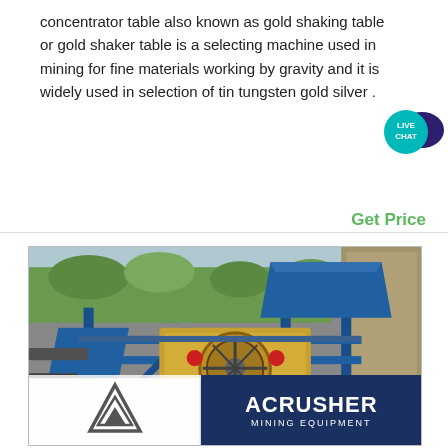concentrator table also known as gold shaking table or gold shaker table is a selecting machine used in mining for fine materials working by gravity and it is widely used in selection of tin tungsten gold silver .
[Figure (illustration): Live chat button with teal circle and dark blue speech bubble icon with text 'LIVE CHAT']
Get Price
[Figure (photo): Photograph of a large blue and yellow mining jaw crusher machine on a steel frame structure outdoors, with vegetation in the background. An ACRUSHER Mining Equipment logo appears at the bottom of the image.]